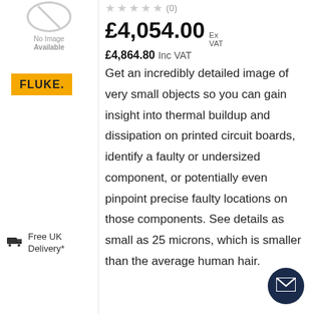[Figure (illustration): No Image Available placeholder with grey circle and diagonal slash]
[Figure (logo): FLUKE brand logo on yellow/amber background]
£4,054.00 Ex VAT
£4,864.80 Inc VAT
Get an incredibly detailed image of very small objects so you can gain insight into thermal buildup and dissipation on printed circuit boards, identify a faulty or undersized component, or potentially even pinpoint precise faulty locations on those components. See details as small as 25 microns, which is smaller than the average human hair.
Free UK Delivery*